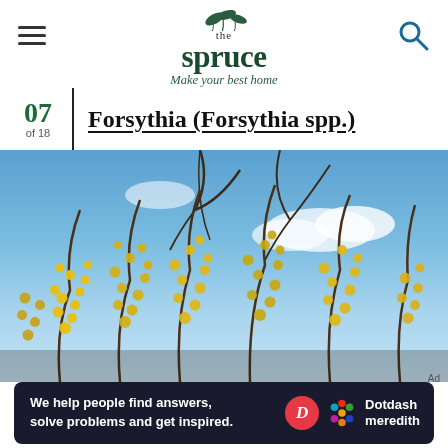the spruce — Make your best home
07 of 18 — Forsythia (Forsythia spp.)
[Figure (photo): Forsythia shrub in bloom with bright yellow flowers against a blue sky with white clouds; bare tree branches visible above]
Ad
We help people find answers, solve problems and get inspired. Dotdash meredith